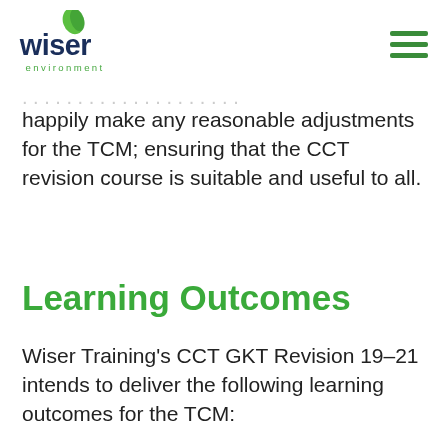[Figure (logo): Wiser Environment logo with green leaf above the word 'wiser' in dark blue and 'environment' in green underneath]
happily make any reasonable adjustments for the TCM; ensuring that the CCT revision course is suitable and useful to all.
Learning Outcomes
Wiser Training's CCT GKT Revision 19–21 intends to deliver the following learning outcomes for the TCM: